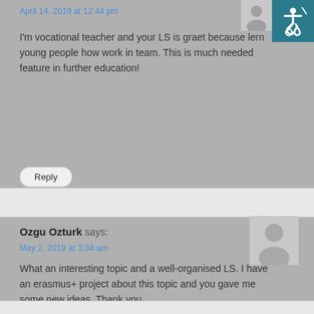April 14, 2019 at 12:44 pm
I'm vocational teacher and your LS is graet because lern young people how work in team. This is much needed feature in further education!
Reply
Ozgu Ozturk says:
May 2, 2019 at 3:34 am
What an interesting topic and a well-organised LS. I have an erasmus+ project about this topic and you gave me some new ideas. Thank you.